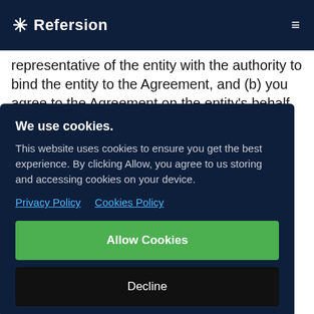Refersion
representative of the entity with the authority to bind the entity to the Agreement, and (b) you agree to the Agreement on the entity's behalf.
We use cookies.
This website uses cookies to ensure you get the best experience. By clicking Allow, you agree to us storing and accessing cookies on your device.
Privacy Policy   Cookies Policy
Allow Cookies
Decline
01. DEFINITIONS. The following capitalized terms